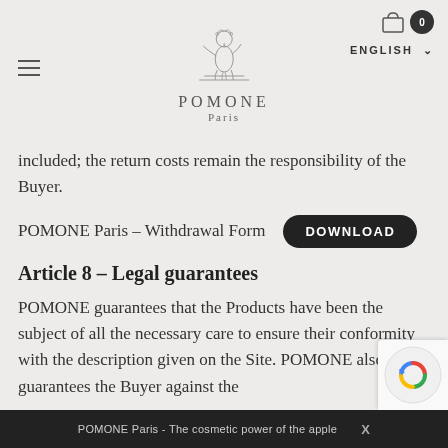[Figure (logo): POMONE Paris logo with a classical goddess figure line drawing above the brand name]
included; the return costs remain the responsibility of the Buyer.
POMONE Paris – Withdrawal Form  DOWNLOAD
Article 8 – Legal guarantees
POMONE guarantees that the Products have been the subject of all the necessary care to ensure their conformity with the description given on the Site. POMONE also guarantees the Buyer against the
POMONE Paris - The cosmetic power of the apple    X